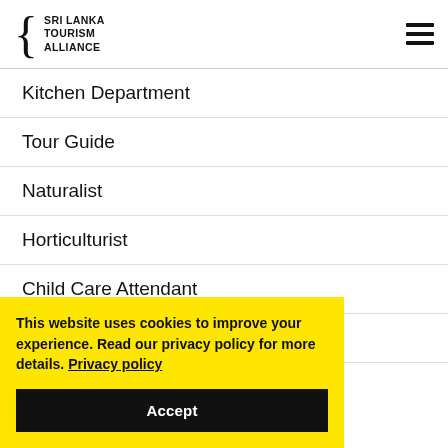SRI LANKA TOURISM ALLIANCE
Kitchen Department
Tour Guide
Naturalist
Horticulturist
Child Care Attendant
Ticket Agent
This website uses cookies to improve your experience. Read our privacy policy for more details. Privacy policy
Accept